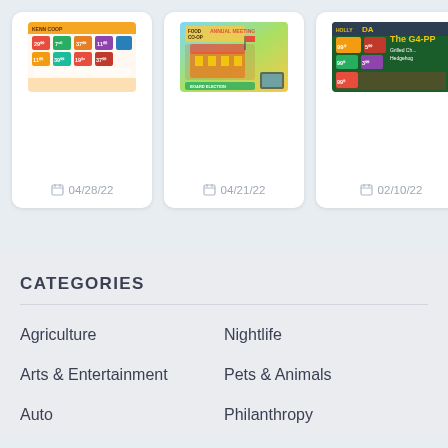[Figure (screenshot): Card showing a grocery store flyer thumbnail, dated 04/28/22]
[Figure (screenshot): Card showing a food co-op annual meeting flyer thumbnail, dated 04/21/22]
[Figure (screenshot): Card showing a partially visible grocery deals flyer thumbnail, dated 02/10/22]
CATEGORIES
Agriculture
Nightlife
Arts & Entertainment
Pets & Animals
Auto
Philanthropy